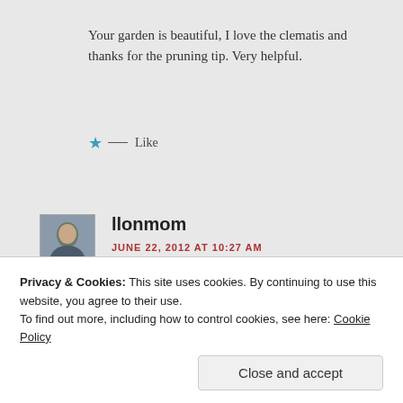Your garden is beautiful, I love the clematis and thanks for the pruning tip. Very helpful.
★ Like
llonmom
JUNE 22, 2012 AT 10:27 AM
Di,
Privacy & Cookies: This site uses cookies. By continuing to use this website, you agree to their use.
To find out more, including how to control cookies, see here: Cookie Policy
Close and accept